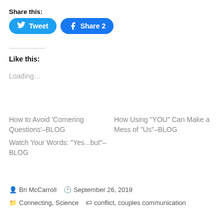Share this:
[Figure (other): Tweet and Share 2 social media buttons]
Like this:
Loading...
How to Avoid ‘Cornering Questions’–BLOG
How Using “YOU” Can Make a Mess of “Us”–BLOG
Watch Your Words: “Yes...but”–BLOG
Bri McCarroll   September 26, 2019
Connecting, Science   conflict, couples communication